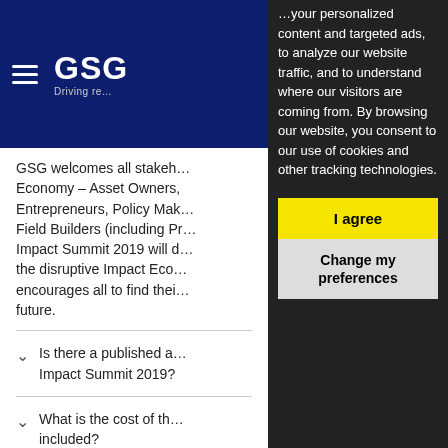GSG – Driving re…
GSG welcomes all stakeholders of the Impact Economy – Asset Owners, Entrepreneurs, Policy Makers, Field Builders (including Pr… Impact Summit 2019 will d… the disruptive Impact Eco… encourages all to find thei… future.
…your personalized content and targeted ads, to analyze our website traffic, and to understand where our visitors are coming from. By browsing our website, you consent to our use of cookies and other tracking technologies.
Is there a published a… Impact Summit 2019?
What is the cost of th… included?
I agree
Change my preferences